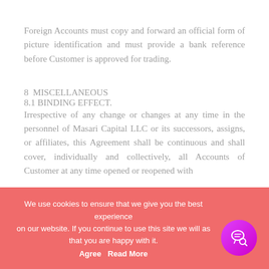Foreign Accounts must copy and forward an official form of picture identification and must provide a bank reference before Customer is approved for trading.
8  MISCELLANEOUS
8.1 BINDING EFFECT.
Irrespective of any change or changes at any time in the personnel of Masari Capital LLC or its successors, assigns, or affiliates, this Agreement shall be continuous and shall cover, individually and collectively, all Accounts of Customer at any time opened or reopened with
This Agreement including all authorizations shall inure to the benefit of Masari Capital LLC and its successors and
We use cookies to ensure that we give you the best experience on our website. If you continue to use this site we will as that you are happy with it. Agree  Read More